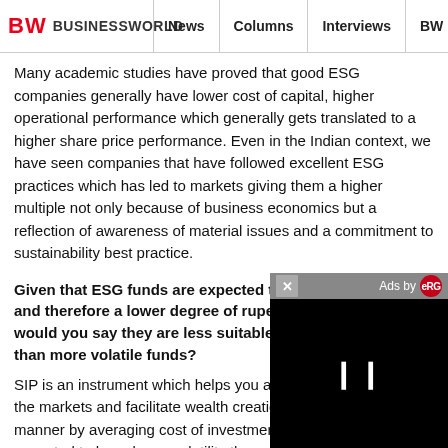BW BUSINESSWORLD | News | Columns | Interviews | BW
Many academic studies have proved that good ESG companies generally have lower cost of capital, higher operational performance which generally gets translated to a higher share price performance. Even in the Indian context, we have seen companies that have followed excellent ESG practices which has led to markets giving them a higher multiple not only because of business economics but a reflection of awareness of material issues and a commitment to sustainability best practice.
Given that ESG funds are expected to have lower volatility, and therefore a lower degree of rupee cost averaging, would you say they are less suitable for long term SIP's than more volatile funds?
SIP is an instrument which helps you avoid timing the markets and facilitate wealth creation in a disciplined manner by averaging cost of investments. ESG funds are expected to have lower volatility than other funds but will still provide opportunity for rupee cost averaging as an equity fund and be subject to stock market cycles and business cycles of the companies in the portfolio.
[Figure (screenshot): Video ad overlay with close button (×) and Ads by logo in grey bar, black video player area with pause button (II)]